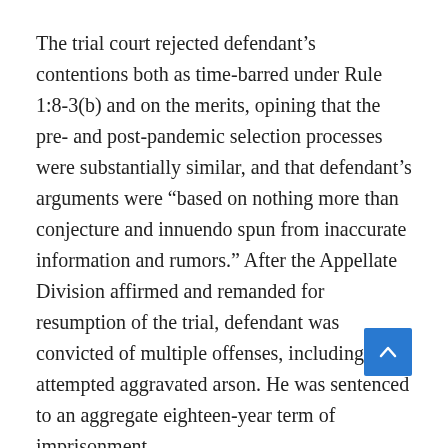The trial court rejected defendant's contentions both as time-barred under Rule 1:8-3(b) and on the merits, opining that the pre- and post-pandemic selection processes were substantially similar, and that defendant's arguments were “based on nothing more than conjecture and innuendo spun from inaccurate information and rumors.” After the Appellate Division affirmed and remanded for resumption of the trial, defendant was convicted of multiple offenses, including attempted aggravated arson. He was sentenced to an aggregate eighteen-year term of imprisonment.
NJ Supreme Court’s Decision in State v. Dangcil